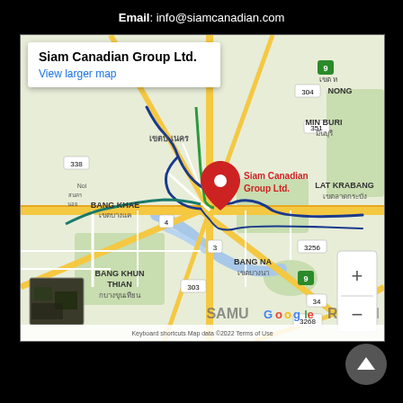Email: info@siamcanadian.com
[Figure (map): Google Maps screenshot showing the location of Siam Canadian Group Ltd. in Bangkok, Thailand. The map shows surrounding districts including Bang Khae, Min Buri, Lat Krabang, Bang Na, Bang Khun Thian, and Samut Prakan. A red location pin marks Siam Canadian Group Ltd. Road numbers visible include 304, 351, 338, 4, 3, 303, 3256, 9, 34, 3268. Map data ©2022 shown at bottom.]
Siam Canadian Group Ltd. — View larger map